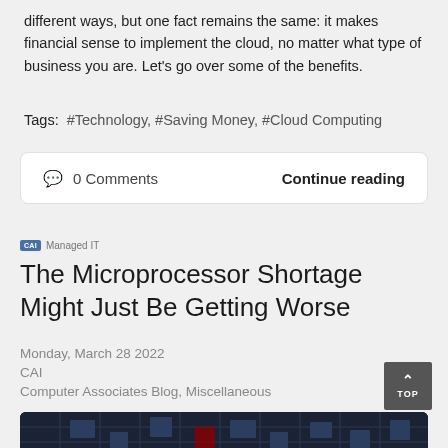different ways, but one fact remains the same: it makes financial sense to implement the cloud, no matter what type of business you are. Let's go over some of the benefits.
Tags: #Technology, #Saving Money, #Cloud Computing
0 Comments    Continue reading
[Figure (logo): CAI Managed IT badge/logo]
The Microprocessor Shortage Might Just Be Getting Worse
Monday, March 28 2022
CAI
Computer Associates Blog, Miscellaneous
[Figure (photo): Close-up photo of a dark microprocessor/circuit board]